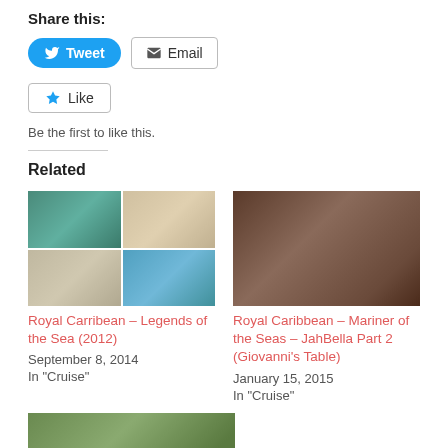Share this:
[Figure (screenshot): Tweet and Email share buttons]
[Figure (screenshot): Like button with star icon]
Be the first to like this.
Related
[Figure (photo): Four-photo grid of children on cruise ship - Royal Carribean Legends of the Sea 2012]
Royal Carribean – Legends of the Sea (2012)
September 8, 2014
In "Cruise"
[Figure (photo): Child sitting at restaurant table on cruise ship - Royal Caribbean Mariner of the Seas JahBella Part 2 Giovanni's Table]
Royal Caribbean – Mariner of the Seas – JahBella Part 2 (Giovanni's Table)
January 15, 2015
In "Cruise"
[Figure (photo): Third related article photo - partial view at bottom of page]